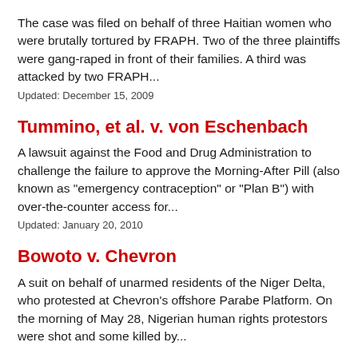The case was filed on behalf of three Haitian women who were brutally tortured by FRAPH. Two of the three plaintiffs were gang-raped in front of their families. A third was attacked by two FRAPH...
Updated: December 15, 2009
Tummino, et al. v. von Eschenbach
A lawsuit against the Food and Drug Administration to challenge the failure to approve the Morning-After Pill (also known as "emergency contraception" or "Plan B") with over-the-counter access for...
Updated: January 20, 2010
Bowoto v. Chevron
A suit on behalf of unarmed residents of the Niger Delta, who protested at Chevron's offshore Parabe Platform. On the morning of May 28, Nigerian human rights protestors were shot and some killed by...